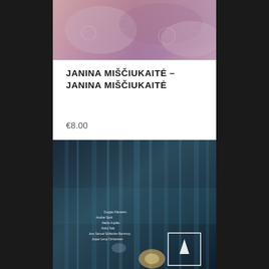[Figure (photo): Close-up photograph of ornate textile or fabric with decorative pattern, pinkish-purple tones, cropped at top]
JANINA MIŠČIUKAITĖ – JANINA MIŠČIUKAITĖ
€8.00
[Figure (photo): Abstract blurred photograph with dark blue tones and vertical streaks of light, appears to be album cover with small text listing names including Douglas Palmeirim, Another Spirit, Mathis Kupfels, Rafmi Tails, Jens Samuel Schleicher Bammrup, Jasper Lerup Christensen]